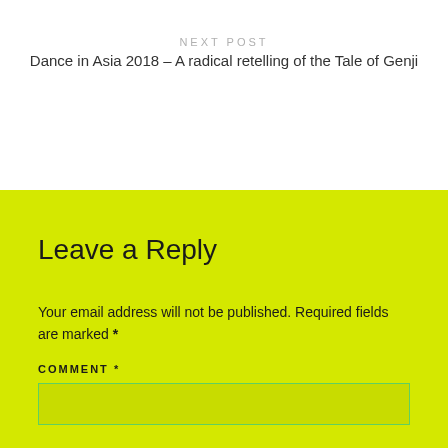NEXT POST
Dance in Asia 2018 – A radical retelling of the Tale of Genji
Leave a Reply
Your email address will not be published. Required fields are marked *
COMMENT *